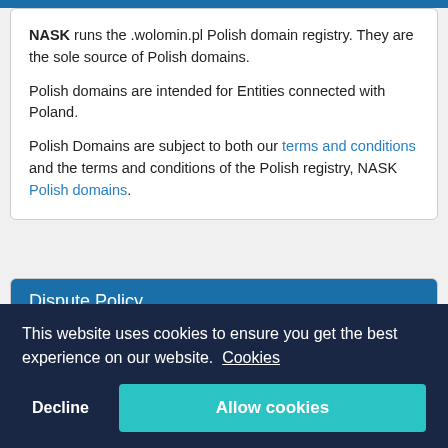NASK runs the .wolomin.pl Polish domain registry. They are the sole source of Polish domains.

Polish domains are intended for Entities connected with Poland.

Polish Domains are subject to both our terms and conditions and the terms and conditions of the Polish registry, NASK Polish domains.
Dispute Policy
In the event of you entering into a dispute concerning your [domain]...
This website uses cookies to ensure you get the best experience on our website. Cookies
Helpful Support We offer real support, speak to a real...